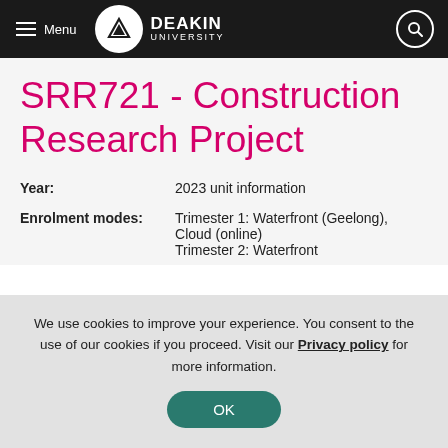Menu | DEAKIN UNIVERSITY
SRR721 - Construction Research Project
| Year: | 2023 unit information |
| Enrolment modes: | Trimester 1: Waterfront (Geelong), Cloud (online)
Trimester 2: Waterfront |
We use cookies to improve your experience. You consent to the use of our cookies if you proceed. Visit our Privacy policy for more information.